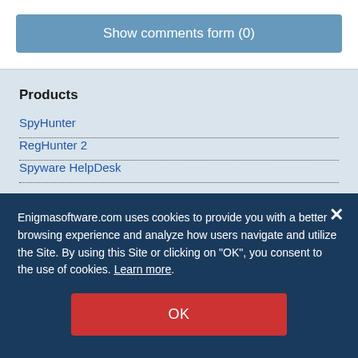Show comments form (0)
Products
SpyHunter
RegHunter 2
Spyware HelpDesk
Malware Research
Threat Database
MalwareTracker
Enigmasoftware.com uses cookies to provide you with a better browsing experience and analyze how users navigate and utilize the Site. By using this Site or clicking on "OK", you consent to the use of cookies. Learn more.
OK